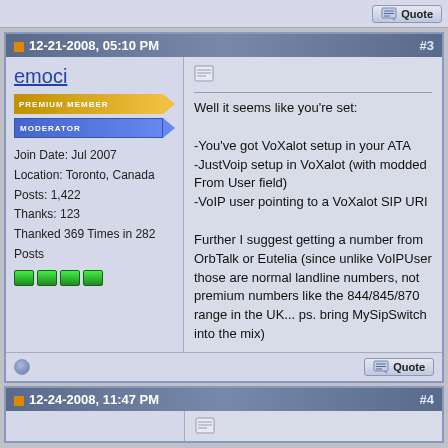[Figure (screenshot): Top strip of a forum page with a Quote button on the right]
12-21-2008, 05:10 PM  #3
emoci
PREMIUM MEMBER
MODERATOR
Join Date: Jul 2007
Location: Toronto, Canada
Posts: 1,422
Thanks: 123
Thanked 369 Times in 282 Posts
Well it seems like you're set:

-You've got VoXalot setup in your ATA
-JustVoip setup in VoXalot (with modded From User field)
-VoIP user pointing to a VoXalot SIP URI

Further I suggest getting a number from OrbTalk or Eutelia (since unlike VoIPUser those are normal landline numbers, not premium numbers like the 844/845/870 range in the UK... ps. bring MySipSwitch into the mix)
12-24-2008, 11:47 PM  #4